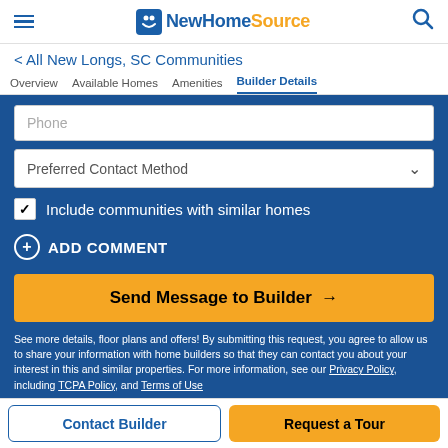NewHomeSource
< All New Longs, SC Communities
Overview  Available Homes  Amenities  Builder Details
Phone
Preferred Contact Method
Include communities with similar homes
ADD COMMENT
Send Message to Builder →
See more details, floor plans and offers! By submitting this request, you agree to allow us to share your information with home builders so that they can contact you about your interest in this and similar properties. For more information, see our Privacy Policy, including TCPA Policy, and Terms of Use
Contact Builder  Request a Tour